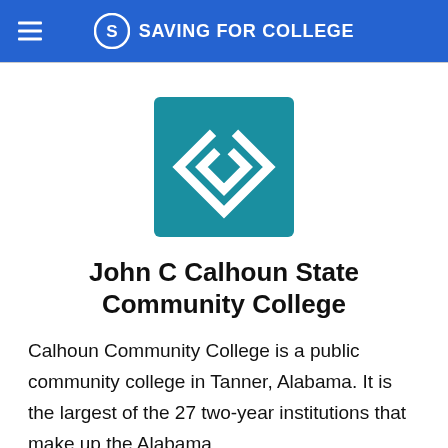SAVING FOR COLLEGE
[Figure (logo): Calhoun Community College logo — teal/blue square with white angular C-shaped swirl icon]
John C Calhoun State Community College
Calhoun Community College is a public community college in Tanner, Alabama. It is the largest of the 27 two-year institutions that make up the Alabama